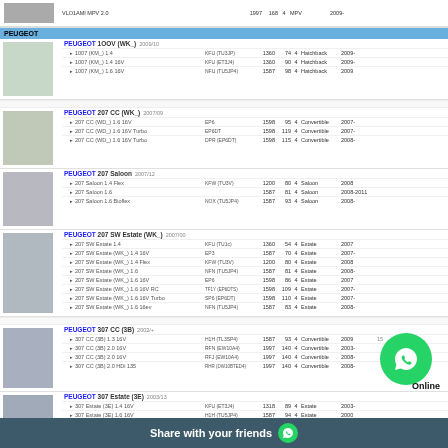| Model | Engine | CC | HP | Cyl | Body | Year | Num |
| --- | --- | --- | --- | --- | --- | --- | --- |
| VLO1AMI MPV 2.0 |  | 1997 | 168 | 4 | MPV | 2009- |  |
| PEUGEOT (section header) |  |  |  |  |  |  |  |
| PEUGEOT 1OOV (WK_) 2009/10 (header) |  |  |  |  |  |  |  |
| 1007 (KM_) 1.4 | KFU (TU3JP) | 1360 | 74 | 4 | Hatchback | 2009- |  |
| 1007 (KM_) 1.4 16V | KFU (ET3J4) | 1360 | 90 | 4 | Hatchback | 2009- |  |
| 1007 (KM_) 1.6 16V | NFU (TU5JP4) | 1587 | 98 | 4 | Hatchback | 2009 |  |
| PEUGEOT 207 CC (WK_) 2007/09 (header) |  |  |  |  |  |  |  |
| 207 CC (WD_) 1.6 16V | EP6 | 1598 | 95 | 4 | Convertible | 2007- |  |
| 207 CC (WD_) 1.6 16V Turbo | EP6DT | 1598 | 119 | 4 | Convertible | 2007- |  |
| 207 CC (WD_) 1.6 16V Turbo | DPR (EP6DT) | 1598 | 115 | 4 | Convertible | 2008- |  |
| PEUGEOT 207 Saloon 2007/12 (header) |  |  |  |  |  |  |  |
| 207 Saloon 1.4 Flex | KFW (TU3V) | 1200 | 80 | 4 | Saloon | 2008 |  |
| 207 Saloon 1.6 |  | 1587 | 81 | 4 | Saloon | 2008-2011 |  |
| 207 Saloon 1.6 Bioflex | NOX (TU5JP4) | 1587 | 93 | 4 | Saloon | 2008- |  |
| PEUGEOT 207 SW Estate (WK_) 2007/00 (header) |  |  |  |  |  |  |  |
| 207 SW Estate 1.4 | KFU (TU3i) | 1360 | 54 | 4 | Estate | 2007 |  |
| 207 SW Estate (WK_) 1.4 16V | EP3 | 1587 | 70 | 4 | Estate | 2007- |  |
| 207 SW Estate (WK_) 1.4 Flex | KFW (TU3V) | 1200 | 80 | 4 | Estate | 2008 |  |
| 207 SW Estate (WK_) 1.6 | NFN (TU5JP4) | 1587 | 81 | 4 | Estate | 2008- |  |
| 207 SW Estate (WK_) 1.6 16V | EP6 | 1598 | 86 | 4 | Estate | 2007 |  |
| 207 SW Estate (WK_) 1.6 16V RC | TF1Y (EP6DTS) | 1598 | 109 | 4 | Estate | 2007- |  |
| 207 SW Estate (WK_) 1.6 16V Turbo | SP6 (EP6DT) | 1598 | 110 | 4 | Estate | 2007- |  |
| 207 SW Estate (WK_) 1.6 16ev | NFN (TU5JP4) | 1587 | 83 | 4 | Estate | 2008- |  |
| PEUGEOT 307 CC (3B) 2002/+ (header) |  |  |  |  |  |  |  |
| 307 CC (3B) 1.3 16V | H1H (TL3SP4) | 1587 | 93 | 4 | Convertible | 2009 | 15 |
| 307 CC (3B) 2.0 16V | RFN (EW10A4) | 1997 | 140 | 4 | Convertible | 2003- |  |
| 307 CC (3B) 2.0 16V | RFJ (EW10A4) | 1997 | 140 | 4 | Convertible | 2008- |  |
| 307 CC (3B) 2.0 HDi 135 | RHR(DW10BTED4) | 1997 | 140 | 4 | Convertible | 2008- |  |
| PEUGEOT 307 Estate (3E) 2003/13 (header) |  |  |  |  |  |  |  |
| 307 Estate (3E) 1.4 16V | KFU (ET3J4) | 1318 | 89 | 4 | Estate | 2003- |  |
| 307 Estate (3E) 1.6 16V | H1H (TU5JP4) | 1587 | 94 | 4 | Estate | 2000 |  |
| 307 Estate (3E) 1.6 Bioflex | H1H (TU5JP4) | 1587 | 94 | 4 | Estate | 2007- | 15 |
[Figure (infographic): WhatsApp share banner at bottom with 'Share with your friends' text and WhatsApp icon]
Share with your friends